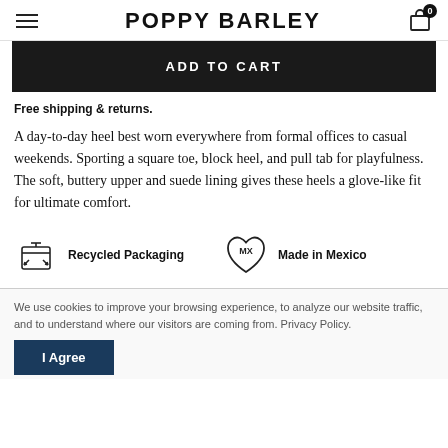POPPY BARLEY
ADD TO CART
Free shipping & returns.
A day-to-day heel best worn everywhere from formal offices to casual weekends. Sporting a square toe, block heel, and pull tab for playfulness. The soft, buttery upper and suede lining gives these heels a glove-like fit for ultimate comfort.
[Figure (illustration): Recycled Packaging icon (box with arrows) and Made in Mexico icon (heart with MX text), displayed as badges]
We use cookies to improve your browsing experience, to analyze our website traffic, and to understand where our visitors are coming from. Privacy Policy.
I Agree